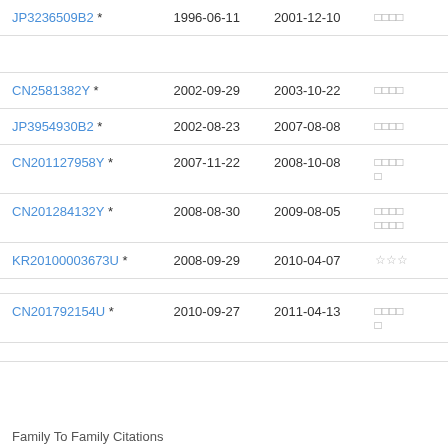| Patent | Filed | Published | Assignee |
| --- | --- | --- | --- |
| JP3236509B2 * | 1996-06-11 | 2001-12-10 | □□□□ |
| CN2581382Y * | 2002-09-29 | 2003-10-22 | □□□□ |
| JP3954930B2 * | 2002-08-23 | 2007-08-08 | □□□□ |
| CN201127958Y * | 2007-11-22 | 2008-10-08 | □□□□□ |
| CN201284132Y * | 2008-08-30 | 2009-08-05 | □□□□□□□□ |
| KR20100003673U * | 2008-09-29 | 2010-04-07 | ☆☆☆ |
| CN201792154U * | 2010-09-27 | 2011-04-13 | □□□□□ |
Family To Family Citations